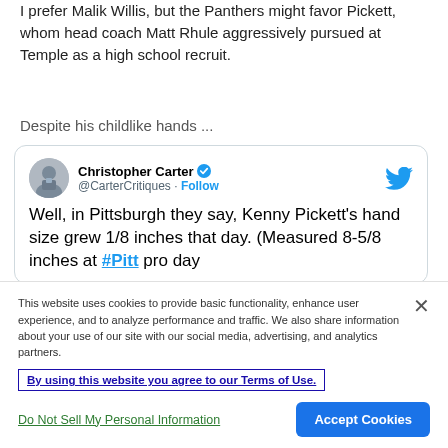I prefer Malik Willis, but the Panthers might favor Pickett, whom head coach Matt Rhule aggressively pursued at Temple as a high school recruit.
Despite his childlike hands ...
[Figure (screenshot): Embedded tweet from @CarterCritiques (Christopher Carter, verified) reading: 'Well, in Pittsburgh they say, Kenny Pickett's hand size grew 1/8 inches that day. (Measured 8-5/8 inches at #Pitt pro day']
This website uses cookies to provide basic functionality, enhance user experience, and to analyze performance and traffic. We also share information about your use of our site with our social media, advertising, and analytics partners.
By using this website you agree to our Terms of Use.
Do Not Sell My Personal Information
Accept Cookies